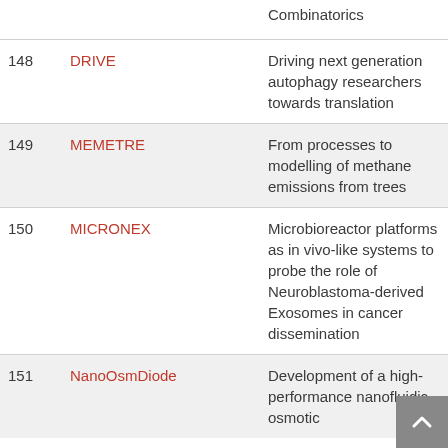|  | Project | Description |
| --- | --- | --- |
|  |  | Combinatorics |
| 148 | DRIVE | Driving next generation autophagy researchers towards translation |
| 149 | MEMETRE | From processes to modelling of methane emissions from trees |
| 150 | MICRONEX | Microbioreactor platforms as in vivo-like systems to probe the role of Neuroblastoma-derived Exosomes in cancer dissemination |
| 151 | NanoOsmDiode | Development of a high-performance nanofluidic osmotic |